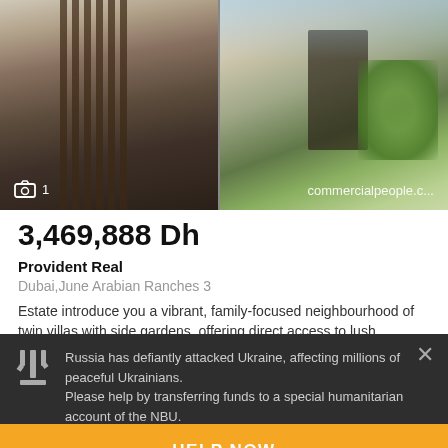[Figure (photo): Real estate listing photo showing twin villa exterior — left side shows dark wooden slat facade with glass door entrance and balcony, right side shows modern white building with trees and landscaping. Watermark reads 'commercialpeople.c...' with camera icon and '1' badge.]
3,469,888 Dh
Provident Real
Dubai,June Arabian Ranches 3
Estate introduce you a vibrant, family-focused neighbourhood of twin villas with side gardens, offering direct access to lush...
Russia has defiantly attacked Ukraine, affecting millions of peaceful Ukrainians.
Please help by transferring funds to a special humanitarian account of the NBU.
HELP NOW